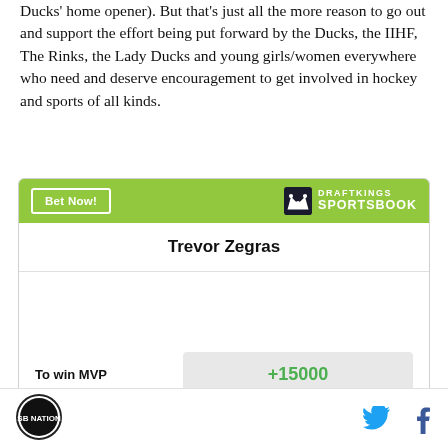Ducks' home opener). But that's just all the more reason to go out and support the effort being put forward by the Ducks, the IIHF, The Rinks, the Lady Ducks and young girls/women everywhere who need and deserve encouragement to get involved in hockey and sports of all kinds.
[Figure (other): DraftKings Sportsbook bet widget for Trevor Zegras — To win MVP odds: +15000]
Site logo | Twitter share icon | Facebook share icon